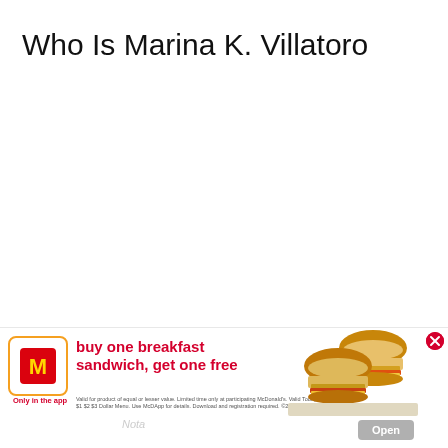Who Is Marina K. Villatoro
[Figure (infographic): McDonald's app advertisement banner at the bottom of the page. Shows McDonald's logo in an orange-bordered box, text 'buy one breakfast sandwich, get one free', 'Only in the app', fine print about validity, an image of two breakfast sandwiches (Egg McMuffin style), a close (X) button, and an 'Open' button.]